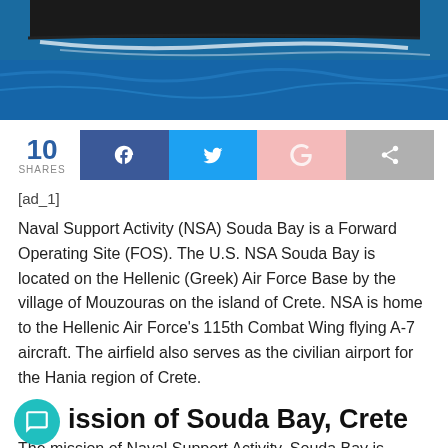[Figure (photo): Aerial or naval photograph showing water (blue sea) with a dark vessel or landmass and white wake/surf at the top of the page.]
10 SHARES
[ad_1]
Naval Support Activity (NSA) Souda Bay is a Forward Operating Site (FOS). The U.S. NSA Souda Bay is located on the Hellenic (Greek) Air Force Base by the village of Mouzouras on the island of Crete. NSA is home to the Hellenic Air Force's 115th Combat Wing flying A-7 aircraft. The airfield also serves as the civilian airport for the Hania region of Crete.
Mission of Souda Bay, Crete
The mission of Naval Support Activity, Souda Bay is